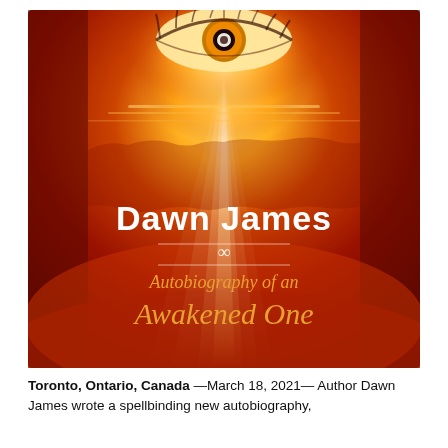[Figure (illustration): Book cover of 'Autobiography of an Awakened One' by Dawn James. Features a dramatic red and orange fiery sky background with a large eye at the top center with a golden glow and rays of light streaming downward. The author name 'Dawn James' is in large white bold text in the center, followed by an infinity symbol, then 'Autobiography of an' in smaller golden text, and 'Awakened One' in large golden text below.]
Toronto, Ontario, Canada —March 18, 2021— Author Dawn James wrote a spellbinding new autobiography,